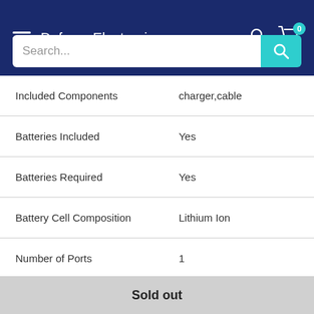DefenceElectronics
| Attribute | Value |
| --- | --- |
| Included Components | charger,cable |
| Batteries Included | Yes |
| Batteries Required | Yes |
| Battery Cell Composition | Lithium Ion |
| Number of Ports | 1 |
Sold out